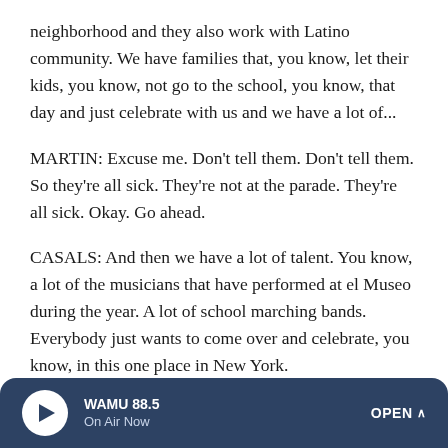neighborhood and they also work with Latino community. We have families that, you know, let their kids, you know, not go to the school, you know, that day and just celebrate with us and we have a lot of...
MARTIN: Excuse me. Don't tell them. Don't tell them. So they're all sick. They're not at the parade. They're all sick. Okay. Go ahead.
CASALS: And then we have a lot of talent. You know, a lot of the musicians that have performed at el Museo during the year. A lot of school marching bands. Everybody just wants to come over and celebrate, you know, in this one place in New York.
WAMU 88.5 On Air Now OPEN